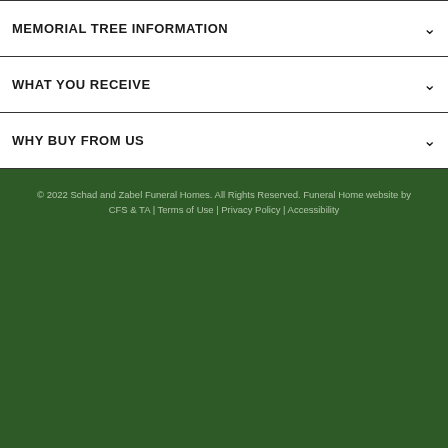MEMORIAL TREE INFORMATION
WHAT YOU RECEIVE
WHY BUY FROM US
© 2022 Schad and Zabel Funeral Homes. All Rights Reserved. Funeral Home website by CFS & TA | Terms of Use | Privacy Policy | Accessibility